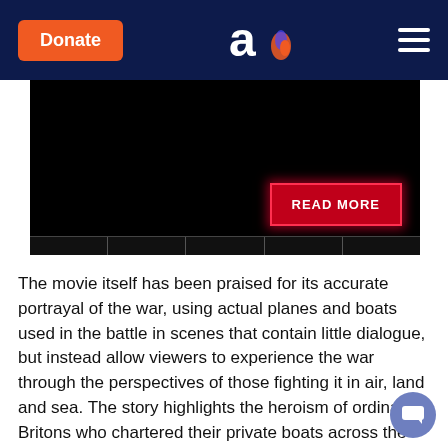Donate | [Aish logo] | [Menu]
[Figure (screenshot): Black video thumbnail with a red glowing READ MORE button in the lower right, and a filmstrip strip along the bottom]
The movie itself has been praised for its accurate portrayal of the war, using actual planes and boats used in the battle in scenes that contain little dialogue, but instead allow viewers to experience the war through the perspectives of those fighting it in air, land and sea. The story highlights the heroism of ordinary Britons who chartered their private boats across the English Channel to aid in the evacuation of the British troops from Dunkirk. While it wasn't a military victory, it was a certainly a moral victory for